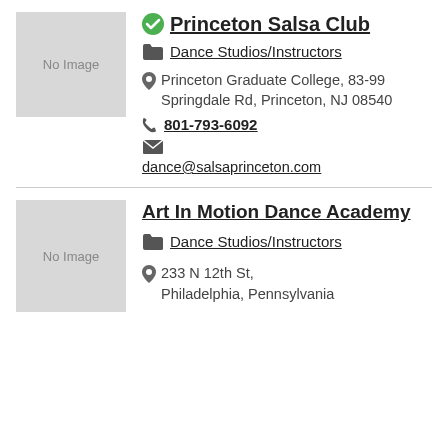[Figure (photo): No Image placeholder box for Princeton Salsa Club]
Princeton Salsa Club
Dance Studios/Instructors
Princeton Graduate College, 83-99 Springdale Rd, Princeton, NJ 08540
801-793-6092
dance@salsaprinceton.com
[Figure (photo): No Image placeholder box for Art In Motion Dance Academy]
Art In Motion Dance Academy
Dance Studios/Instructors
233 N 12th St, Philadelphia, Pennsylvania